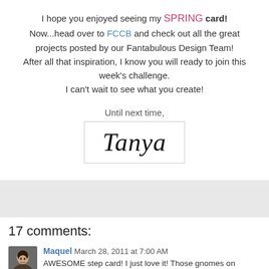I hope you enjoyed seeing my SPRING card! Now...head over to FCCB and check out all the great projects posted by our Fantabulous Design Team! After all that inspiration, I know you will ready to join this week's challenge. I can't wait to see what you create!
Until next time,
[Figure (illustration): Cursive signature reading 'Tanya' inside a light bordered box]
17 comments:
Maquel March 28, 2011 at 7:00 AM
AWESOME step card! I just love it! Those gnomes on